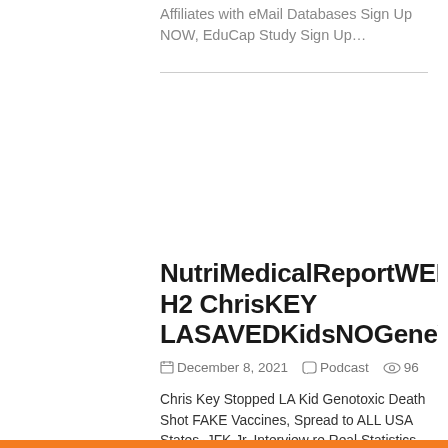Affiliates with eMail Databases Sign Up NOW, EduCap Study Sign Up…
NutriMedicalReportWED8thDH2 ChrisKEY LASAVEDKidsNOGeneVaccineS
December 8, 2021  Podcast  96
Chris Key Stopped LA Kid Genotoxic Death Shot FAKE Vaccines, Spread to ALL USA States, JFK Jr. Interview re Real Statistics DEATH SHOTS, SonicLIFE, Lumen Photon IR, Pure Water Systems, EduCap Affiliates with eMail